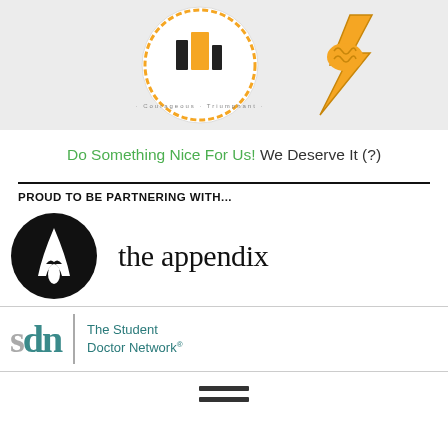[Figure (illustration): Two sticker/badge illustrations: one circular badge with text 'Courageous Triumphant Princ...' and a cartoon buildings image in orange, one lightning bolt brain sticker in orange/yellow]
Do Something Nice For Us! We Deserve It (?)
PROUD TO BE PARTNERING WITH...
[Figure (logo): The Appendix logo: black circle with white letter A mark, next to text 'the appendix' in serif font]
[Figure (logo): Student Doctor Network logo: 'sdn' in large serif text with vertical divider and 'The Student Doctor Network' text in teal]